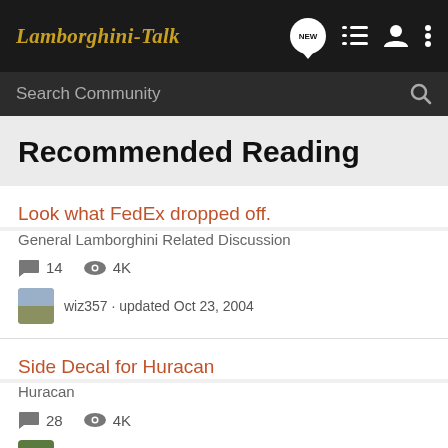Lamborghini-Talk — navigation bar with NEW, list, user, and menu icons
Search Community
Recommended Reading
Look what FedEx dropped off.
General Lamborghini Related Discussion
14 comments · 4K views · wiz357 · updated Oct 23, 2004
Side Decal for Huracan
Huracan
28 comments · 4K views · Russk · updated Jan 19, 2019